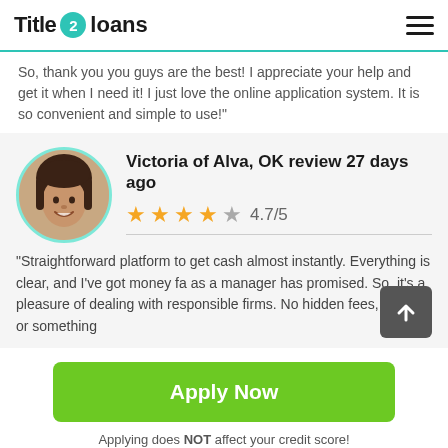Title 2 loans
So, thank you you guys are the best! I appreciate your help and get it when I need it! I just love the online application system. It is so convenient and simple to use!"
Victoria of Alva, OK review 27 days ago
4.7/5
"Straightforward platform to get cash almost instantly. Everything is clear, and I've got money fa... as a manager has promised. So, it's a pleasure of dealing with responsible firms. No hidden fees, tricks, or something
Apply Now
Applying does NOT affect your credit score!
No credit check to apply.